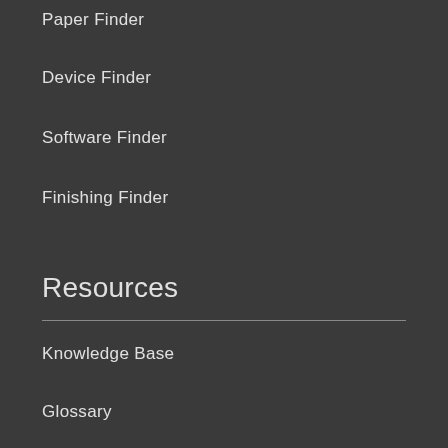Paper Finder
Device Finder
Software Finder
Finishing Finder
Resources
Knowledge Base
Glossary